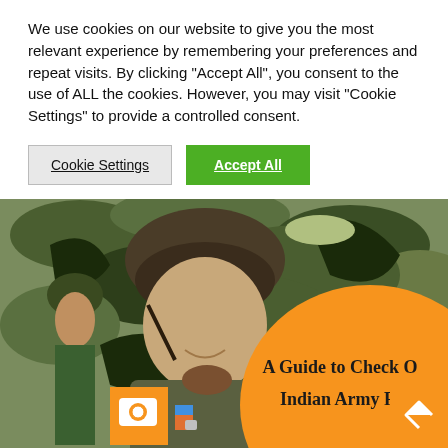We use cookies on our website to give you the most relevant experience by remembering your preferences and repeat visits. By clicking “Accept All”, you consent to the use of ALL the cookies. However, you may visit "Cookie Settings" to provide a controlled consent.
Cookie Settings
Accept All
[Figure (photo): Indian Army soldier in uniform with hat, medals, and camouflage background. Orange circle overlay with partial text 'A Guide to Check O Indian Army Ran' visible.]